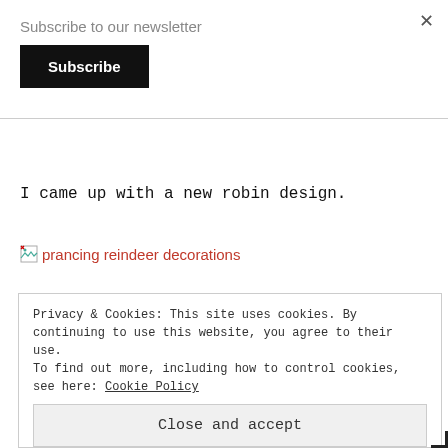×
Subscribe to our newsletter
Subscribe
I came up with a new robin design.
[Figure (illustration): Broken image icon followed by a red link text 'prancing reindeer decorations']
Privacy & Cookies: This site uses cookies. By continuing to use this website, you agree to their use.
To find out more, including how to control cookies, see here: Cookie Policy
Close and accept